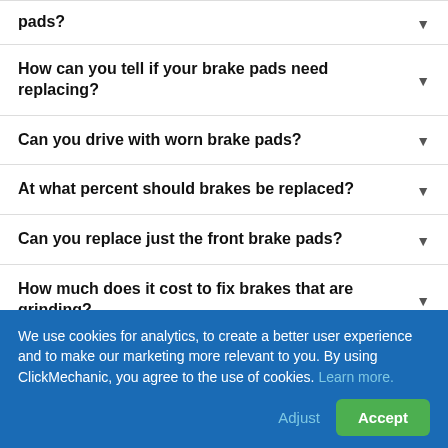pads?
How can you tell if your brake pads need replacing?
Can you drive with worn brake pads?
At what percent should brakes be replaced?
Can you replace just the front brake pads?
How much does it cost to fix brakes that are grinding?
Do I need to replace the brake discs every time I replace brake pads?
We use cookies for analytics, to create a better user experience and to make our marketing more relevant to you. By using ClickMechanic, you agree to the use of cookies. Learn more.
Adjust  Accept